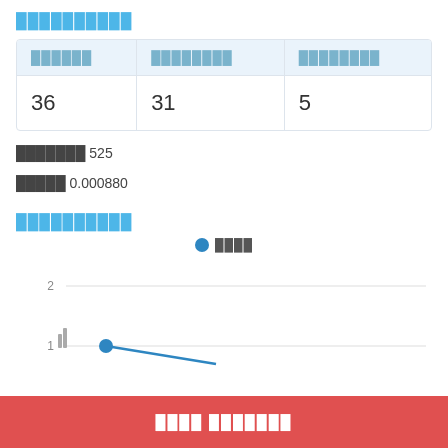██████████
| ██████ | ████████ | ████████ |
| --- | --- | --- |
| 36 | 31 | 5 |
███████ 525
█████ 0.000880
██████████
[Figure (line-chart): Line chart with a single series labeled ████, showing values around y=1 to y=2, with a downward trending line starting near x-left at y=1]
████ ███████